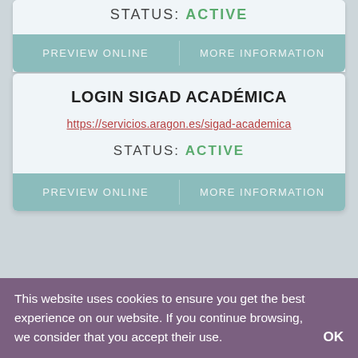STATUS: ACTIVE
PREVIEW ONLINE   MORE INFORMATION
LOGIN SIGAD ACADÉMICA
https://servicios.aragon.es/sigad-academica
STATUS: ACTIVE
PREVIEW ONLINE   MORE INFORMATION
WEB ACADÉMICA: FUNDACIÓN LOYOLA
http://euroasweb.fundacionloyola.org/
This website uses cookies to ensure you get the best experience on our website. If you continue browsing, we consider that you accept their use.